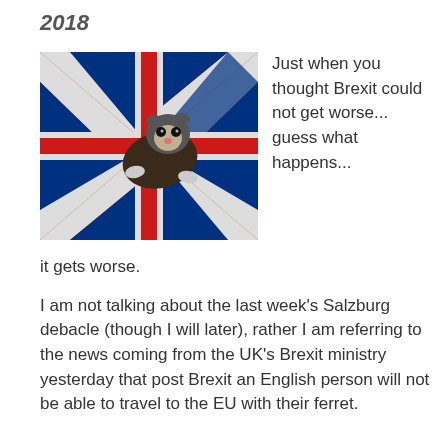2018
[Figure (photo): A ferret sitting on a crumpled Union Jack (UK flag), viewed from above on a wooden surface.]
Just when you thought Brexit could not get worse... guess what happens...
it gets worse.
I am not talking about the last week’s Salzburg debacle (though I will later), rather I am referring to the news coming from the UK’s Brexit ministry yesterday that post Brexit an English person will not be able to travel to the EU with their ferret.